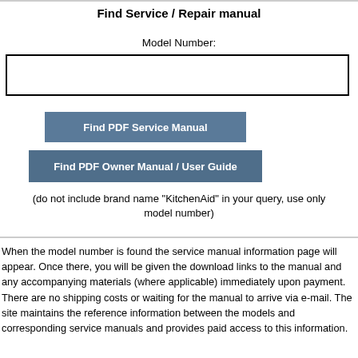Find Service / Repair manual
Model Number:
[Figure (other): Empty text input field with black border for entering model number]
[Figure (other): Button labeled 'Find PDF Service Manual' with steel blue background]
[Figure (other): Button labeled 'Find PDF Owner Manual / User Guide' with steel blue background]
(do not include brand name "KitchenAid" in your query, use only model number)
When the model number is found the service manual information page will appear. Once there, you will be given the download links to the manual and any accompanying materials (where applicable) immediately upon payment. There are no shipping costs or waiting for the manual to arrive via e-mail. The site maintains the reference information between the models and corresponding service manuals and provides paid access to this information.